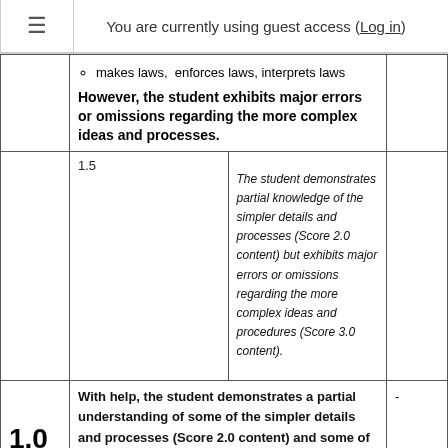You are currently using guest access (Log in)
| Score | Sub | Description |  |
| --- | --- | --- | --- |
|  |  | makes laws,  enforces laws, interprets laws
However, the student exhibits major errors or omissions regarding the more complex ideas and processes. |  |
|  | 1.5 | The student demonstrates partial knowledge of the simpler details and processes (Score 2.0 content) but exhibits major errors or omissions regarding the more complex ideas and procedures (Score 3.0 content). |  |
| 1.0 |  | With help, the student demonstrates a partial understanding of some of the simpler details and processes (Score 2.0 content) and some of the more complex ideas and processes (Score 3.0 content). | - |
|  | 0.5 | With help, the student demonstrates a partial understanding of some of the simpler details and processes (Score 2.0 content) but not the more complex ideas and processes (Score 3.0 content). |  |